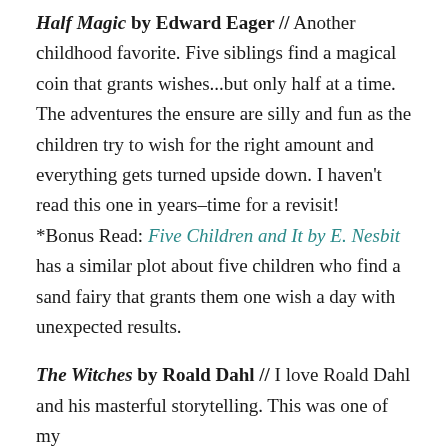Half Magic by Edward Eager // Another childhood favorite. Five siblings find a magical coin that grants wishes...but only half at a time. The adventures the ensure are silly and fun as the children try to wish for the right amount and everything gets turned upside down. I haven't read this one in years–time for a revisit!
*Bonus Read: Five Children and It by E. Nesbit has a similar plot about five children who find a sand fairy that grants them one wish a day with unexpected results.
The Witches by Roald Dahl // I love Roald Dahl and his masterful storytelling. This was one of my